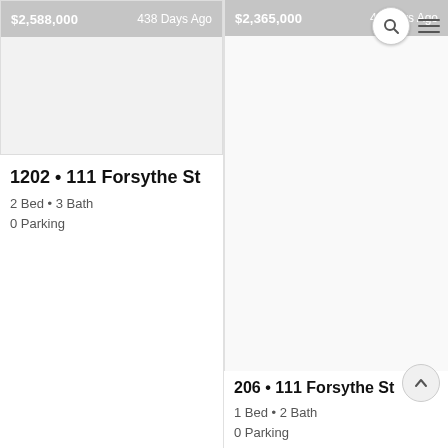[Figure (screenshot): Property listing card image placeholder, grey background with price $2,588,000 and 438 Days Ago overlay]
1202 • 111 Forsythe St
2 Bed • 3 Bath
0 Parking
[Figure (screenshot): Property listing card image placeholder for right column with price $2,365,000 and 46 Days Ago overlay, search and menu icons in top-right corner]
206 • 111 Forsythe St
1 Bed • 2 Bath
0 Parking